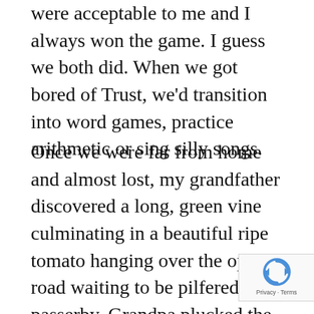were acceptable to me and I always won the game. I guess we both did. When we got bored of Trust, we'd transition into word games, practice arithmetic or sing silly songs.
Once we were far from home and almost lost, my grandfather discovered a long, green vine culminating in a beautiful ripe tomato hanging over the open road waiting to be pilfered by a passerby. Grandpa plucked the tomato and offered it to me. I demurred at first, terribly afraid of the thing. Tomatoes came from the supermarket. This strange unwashed object that came off of an actual vine must be some sort of forbidden fruit. Maybe there was a smart aleck snake nearby waiting for me to repeat an ancient mistake. Besides, I couldn't stand tomatoes.
[Figure (other): reCAPTCHA badge with circular arrow icon and 'Privacy - Terms' text]